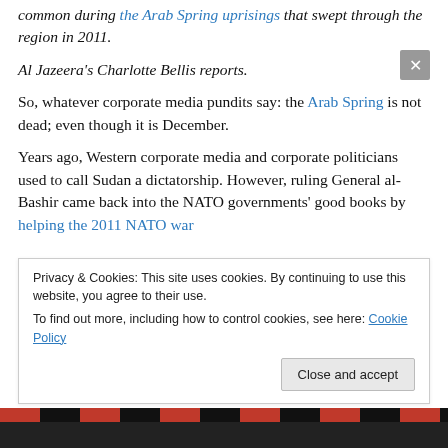common during the Arab Spring uprisings that swept through the region in 2011.
Al Jazeera's Charlotte Bellis reports.
So, whatever corporate media pundits say: the Arab Spring is not dead; even though it is December.
Years ago, Western corporate media and corporate politicians used to call Sudan a dictatorship. However, ruling General al-Bashir came back into the NATO governments' good books by helping the 2011 NATO war
Privacy & Cookies: This site uses cookies. By continuing to use this website, you agree to their use. To find out more, including how to control cookies, see here: Cookie Policy
Close and accept